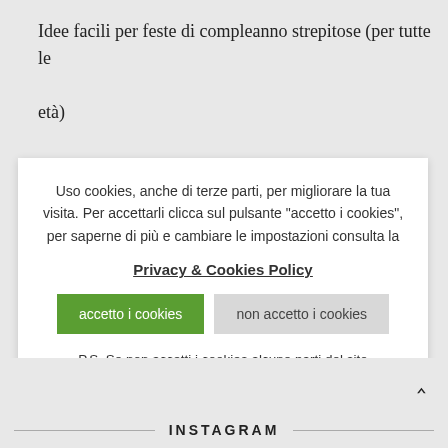Idee facili per feste di compleanno strepitose (per tutte le età)
Uso cookies, anche di terze parti, per migliorare la tua visita. Per accettarli clicca sul pulsante "accetto i cookies", per saperne di più e cambiare le impostazioni consulta la Privacy & Cookies Policy
accetto i cookies | non accetto i cookies
P.S. Se non accetti i cookies alcune parti del sito potrebbero non essere visibili.
INSTAGRAM